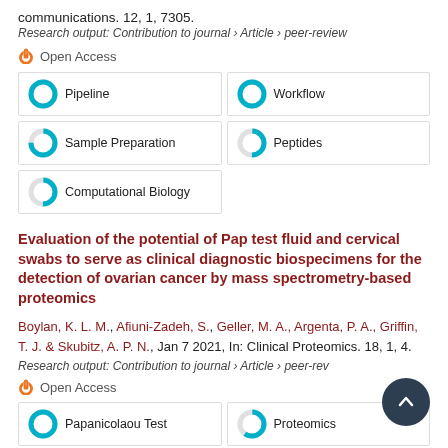communications. 12, 1, 7305.
Research output: Contribution to journal › Article › peer-review
Open Access
[Figure (infographic): Fingerprint donut chart grid: Pipeline 100%, Workflow 100%, Sample Preparation ~75%, Peptides ~50%, Computational Biology ~50%]
Evaluation of the potential of Pap test fluid and cervical swabs to serve as clinical diagnostic biospecimens for the detection of ovarian cancer by mass spectrometry-based proteomics
Boylan, K. L. M., Afiuni-Zadeh, S., Geller, M. A., Argenta, P. A., Griffin, T. J. & Skubitz, A. P. N., Jan 7 2021, In: Clinical Proteomics. 18, 1, 4.
Research output: Contribution to journal › Article › peer-review
Open Access
[Figure (infographic): Fingerprint donut chart grid: Papanicolaou Test ~100%, Proteomics ~60%]